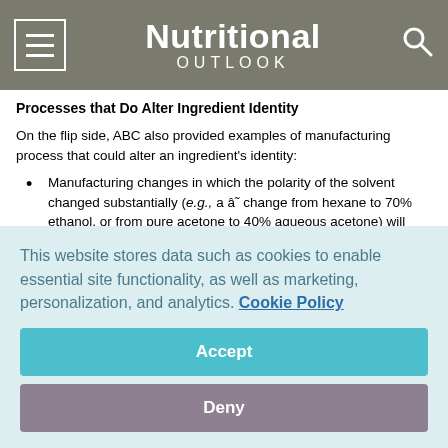Nutritional OUTLOOK
Processes that Do Alter Ingredient Identity
On the flip side, ABC also provided examples of manufacturing process that could alter an ingredient’s identity:
Manufacturing changes in which the polarity of the solvent changed substantially (e.g., a â change from hexane to 70% ethanol, or from pure acetone to 40% aqueous acetone) will generally result in a significant change in chemical profile and thus create a new dietary ingredient.
This website stores data such as cookies to enable essential site functionality, as well as marketing, personalization, and analytics. Cookie Policy
Accept
Deny